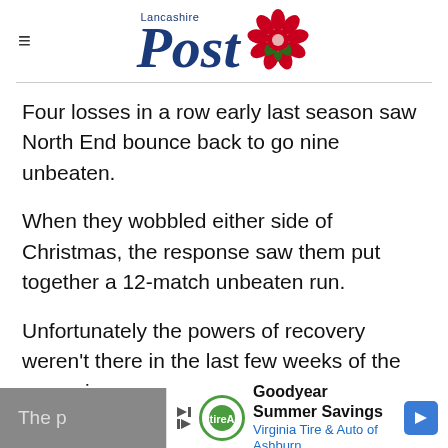Lancashire Post
Four losses in a row early last season saw North End bounce back to go nine unbeaten.
When they wobbled either side of Christmas, the response saw them put together a 12-match unbeaten run.
Unfortunately the powers of recovery weren't there in the last few weeks of the campaign.
Advertisement
The p